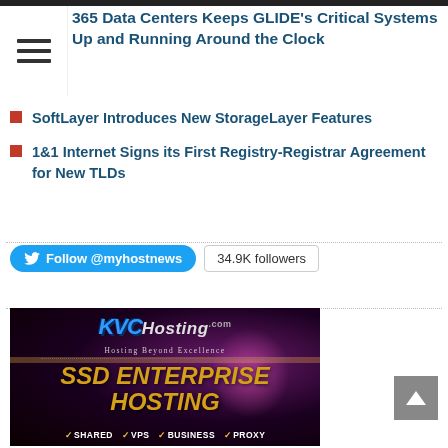365 Data Centers Keeps GLIDE's Critical Systems Up and Running Around the Clock
SoftLayer Introduces New StorageLayer Features
1&1 Internet Signs its First Registry-Registrar Agreement for New TLDs
Follow @myhostnews  34.9K followers
[Figure (advertisement): KVCHosting.com advertisement banner showing SSD Enterprise Hosting with Shared, VPS, Business, Proxy options on dark background with purple glow effect]